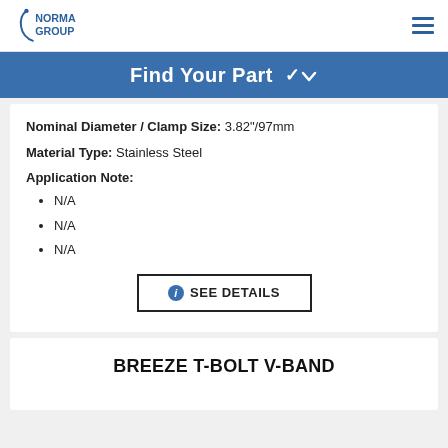NORMA GROUP
Find Your Part
Nominal Diameter / Clamp Size: 3.82"/97mm
Material Type: Stainless Steel
Application Note:
N/A
N/A
N/A
SEE DETAILS
BREEZE T-BOLT V-BAND